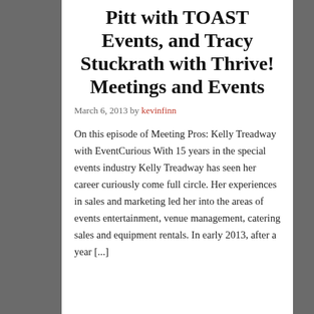Pitt with TOAST Events, and Tracy Stuckrath with Thrive! Meetings and Events
March 6, 2013 by kevinfinn
On this episode of Meeting Pros: Kelly Treadway with EventCurious With 15 years in the special events industry Kelly Treadway has seen her career curiously come full circle. Her experiences in sales and marketing led her into the areas of events entertainment, venue management, catering sales and equipment rentals. In early 2013, after a year [...]